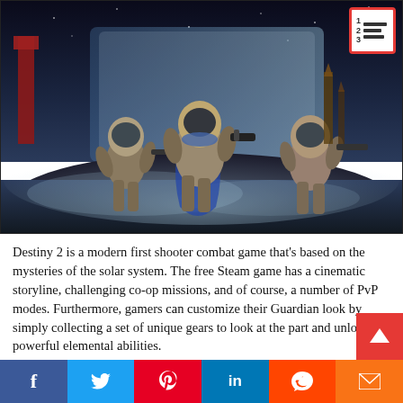[Figure (photo): Promotional artwork for Destiny 2 showing three armored Guardians wielding weapons against a dramatic sci-fi backdrop featuring alien ruins, smoke, and a giant ice wall.]
[Figure (illustration): Table of contents icon in top-right corner: white box with red border, showing numbers 1-2-3 and three horizontal lines.]
Destiny 2 is a modern first shooter combat game that's based on the mysteries of the solar system. The free Steam game has a cinematic storyline, challenging co-op missions, and of course, a number of PvP modes. Furthermore, gamers can customize their Guardian look by simply collecting a set of unique gears to look at the part and unlock powerful elemental abilities.
[Figure (infographic): Social sharing bar at the bottom with icons for Facebook (f), Twitter, Pinterest, LinkedIn, Reddit, and email/envelope.]